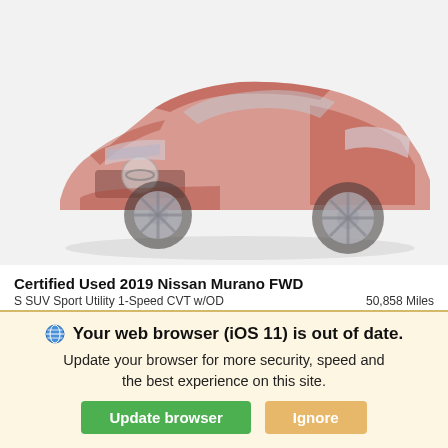[Figure (photo): Red/orange Nissan Murano SUV front 3/4 view, faded/washed out style on light gray background]
Certified Used 2019 Nissan Murano FWD
S SUV Sport Utility 1-Speed CVT w/OD    50,858 Miles
Retail Price
$29,660
Your web browser (iOS 11) is out of date. Update your browser for more security, speed and the best experience on this site.
Update browser    Ignore